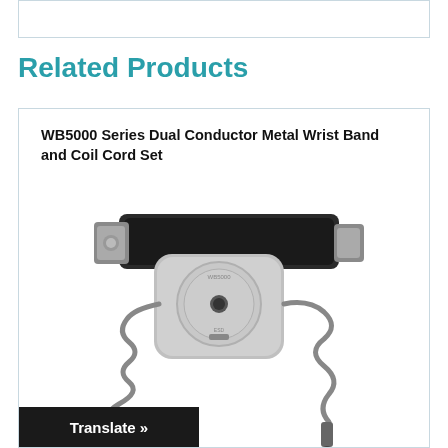Related Products
WB5000 Series Dual Conductor Metal Wrist Band and Coil Cord Set
[Figure (photo): Photo of WB5000 Series Dual Conductor Metal Wrist Band and Coil Cord Set — a gray ESD wrist strap with a black metal band and coiled cord with snap connector]
Translate »